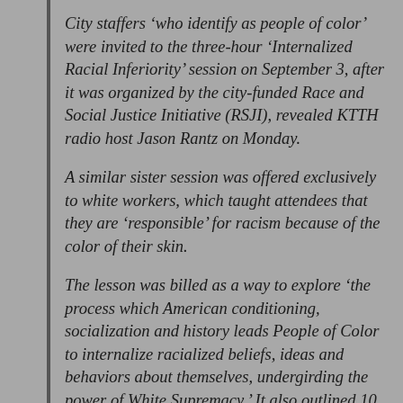City staffers 'who identify as people of color' were invited to the three-hour 'Internalized Racial Inferiority' session on September 3, after it was organized by the city-funded Race and Social Justice Initiative (RSJI), revealed KTTH radio host Jason Rantz on Monday.
A similar sister session was offered exclusively to white workers, which taught attendees that they are 'responsible' for racism because of the color of their skin.
The lesson was billed as a way to explore 'the process which American conditioning, socialization and history leads People of Color to internalize racialized beliefs, ideas and behaviors about themselves, undergirding the power of White Supremacy.' It also outlined 10 'truths' that must be accepted by city employees, which include.